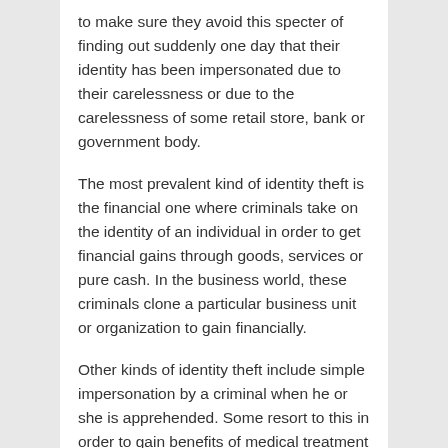to make sure they avoid this specter of finding out suddenly one day that their identity has been impersonated due to their carelessness or due to the carelessness of some retail store, bank or government body.
The most prevalent kind of identity theft is the financial one where criminals take on the identity of an individual in order to get financial gains through goods, services or pure cash. In the business world, these criminals clone a particular business unit or organization to gain financially.
Other kinds of identity theft include simple impersonation by a criminal when he or she is apprehended. Some resort to this in order to gain benefits of medical treatment in certain countries that require the individual to have health insurance cover. Some cases of total identity cloning have also come up but fortunately they are quite rare.
Some recent instances in the UK include the theft of some